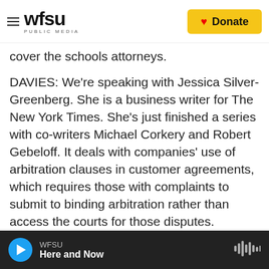WFSU PUBLIC MEDIA | Donate
cover the schools attorneys.
DAVIES: We're speaking with Jessica Silver-Greenberg. She is a business writer for The New York Times. She's just finished a series with co-writers Michael Corkery and Robert Gebeloff. It deals with companies' use of arbitration clauses in customer agreements, which requires those with complaints to submit to binding arbitration rather than access the courts for those disputes.
Let's consider the other side of this argument. Those who think - who defend arbitration. One of the arguments on those - of those who oppose
WFSU — Here and Now